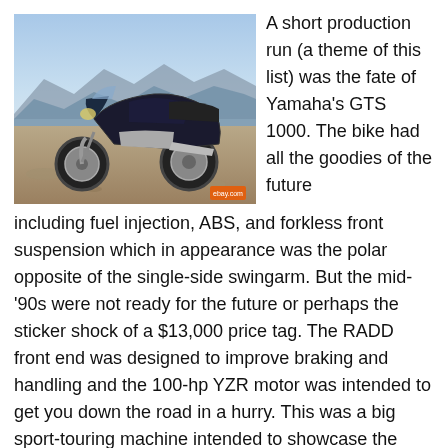[Figure (photo): A dark blue/black Yamaha GTS 1000 motorcycle parked in a desert/mountain landscape with blue skies and rocky hills in the background. A small orange logo is visible in the bottom-right corner of the photo.]
A short production run (a theme of this list) was the fate of Yamaha's GTS 1000. The bike had all the goodies of the future including fuel injection, ABS, and forkless front suspension which in appearance was the polar opposite of the single-side swingarm. But the mid-'90s were not ready for the future or perhaps the sticker shock of a $13,000 price tag. The RADD front end was designed to improve braking and handling and the 100-hp YZR motor was intended to get you down the road in a hurry. This was a big sport-touring machine intended to showcase the possibilities of technology. It was cutting-edge at